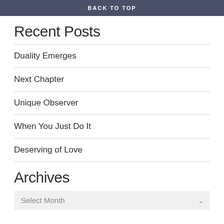BACK TO TOP
Recent Posts
Duality Emerges
Next Chapter
Unique Observer
When You Just Do It
Deserving of Love
Archives
Select Month